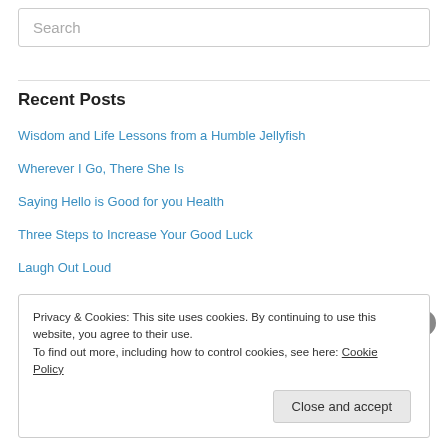Search
Recent Posts
Wisdom and Life Lessons from a Humble Jellyfish
Wherever I Go, There She Is
Saying Hello is Good for you Health
Three Steps to Increase Your Good Luck
Laugh Out Loud
Privacy & Cookies: This site uses cookies. By continuing to use this website, you agree to their use. To find out more, including how to control cookies, see here: Cookie Policy
Close and accept